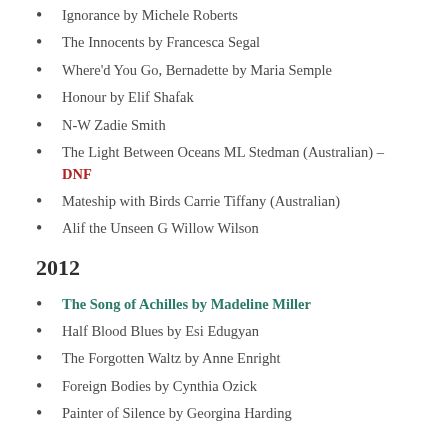Ignorance by Michele Roberts
The Innocents by Francesca Segal
Where'd You Go, Bernadette by Maria Semple
Honour by Elif Shafak
N-W Zadie Smith
The Light Between Oceans ML Stedman (Australian) – DNF
Mateship with Birds Carrie Tiffany (Australian)
Alif the Unseen G Willow Wilson
2012
The Song of Achilles by Madeline Miller
Half Blood Blues by Esi Edugyan
The Forgotten Waltz by Anne Enright
Foreign Bodies by Cynthia Ozick
Painter of Silence by Georgina Harding